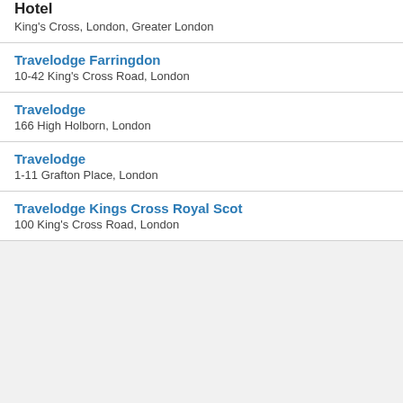Hotel
King's Cross, London, Greater London
Travelodge Farringdon
10-42 King's Cross Road, London
Travelodge
166 High Holborn, London
Travelodge
1-11 Grafton Place, London
Travelodge Kings Cross Royal Scot
100 King's Cross Road, London